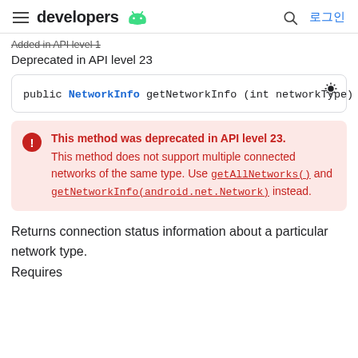developers [Android logo] | 로그인
Added in API level 1
Deprecated in API level 23
public NetworkInfo getNetworkInfo (int networkType)
This method was deprecated in API level 23.
This method does not support multiple connected networks of the same type. Use getAllNetworks() and getNetworkInfo(android.net.Network) instead.
Returns connection status information about a particular network type.
Requires